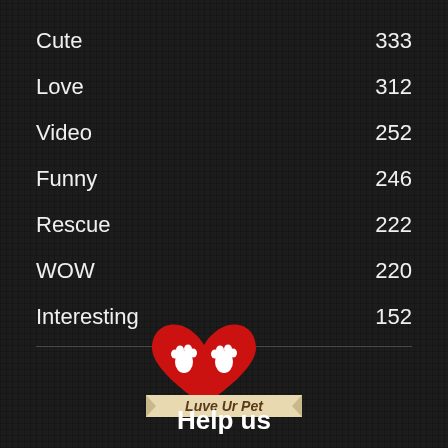Cute   333
Love   312
Video   252
Funny   246
Rescue   222
WOW   220
Interesting   152
[Figure (logo): Luve Ur Pet logo: two red hearts with white paw prints and a banner reading 'Luve Ur Pet']
Help us